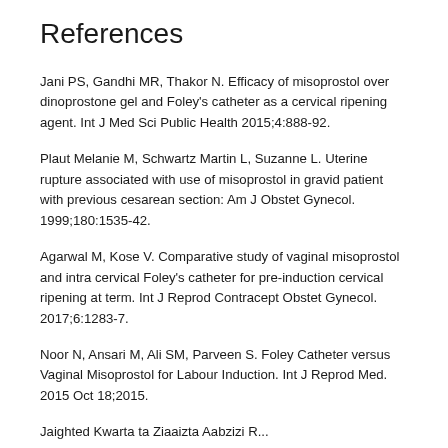References
Jani PS, Gandhi MR, Thakor N. Efficacy of misoprostol over dinoprostone gel and Foley's catheter as a cervical ripening agent. Int J Med Sci Public Health 2015;4:888-92.
Plaut Melanie M, Schwartz Martin L, Suzanne L. Uterine rupture associated with use of misoprostol in gravid patient with previous cesarean section: Am J Obstet Gynecol. 1999;180:1535-42.
Agarwal M, Kose V. Comparative study of vaginal misoprostol and intra cervical Foley's catheter for pre-induction cervical ripening at term. Int J Reprod Contracept Obstet Gynecol. 2017;6:1283-7.
Noor N, Ansari M, Ali SM, Parveen S. Foley Catheter versus Vaginal Misoprostol for Labour Induction. Int J Reprod Med. 2015 Oct 18;2015.